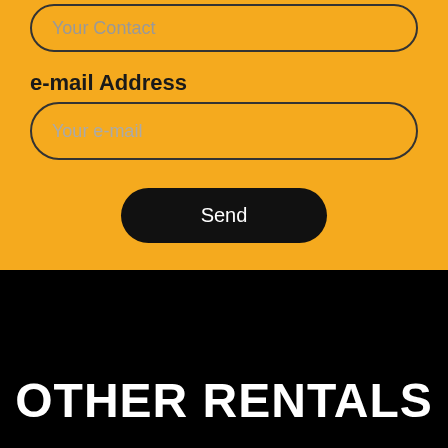Your Contact
e-mail Address
Your e-mail
Send
OTHER RENTALS